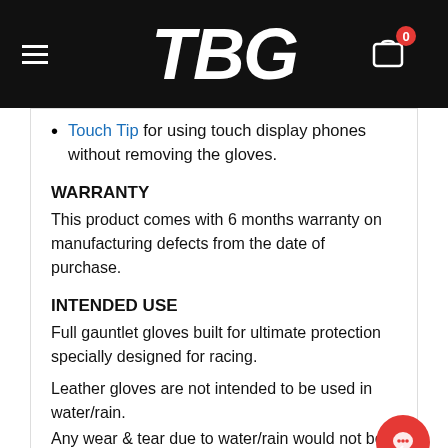TBG
Touch Tip for using touch display phones without removing the gloves.
WARRANTY
This product comes with 6 months warranty on manufacturing defects from the date of purchase.
INTENDED USE
Full gauntlet gloves built for ultimate protection specially designed for racing.
Leather gloves are not intended to be used in water/rain.
Any wear & tear due to water/rain would not be covered under warranty.
RELATED PRODUCTS